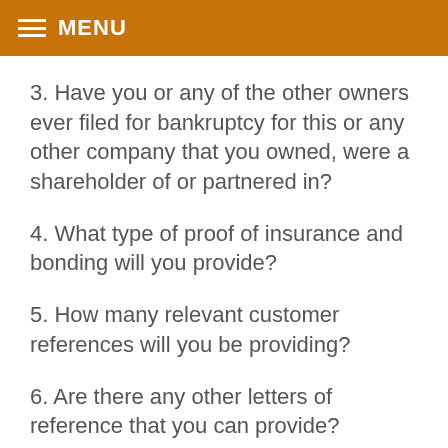MENU
3. Have you or any of the other owners ever filed for bankruptcy for this or any other company that you owned, were a shareholder of or partnered in?
4. What type of proof of insurance and bonding will you provide?
5. How many relevant customer references will you be providing?
6. Are there any other letters of reference that you can provide?
7. What professional building and remodeling industry associations are you a member of?